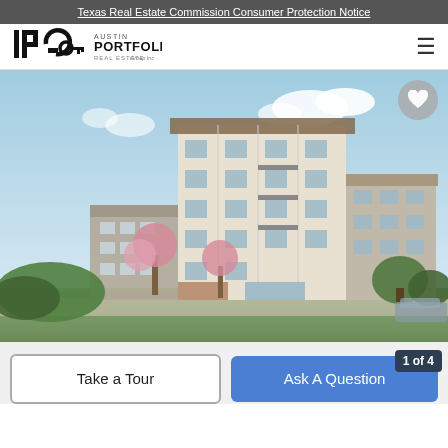Texas Real Estate Commission Consumer Protection Notice
[Figure (logo): IPG Austin Portfolio Real Estate Group Inc logo]
[Figure (photo): Exterior rendering of a modern 6-story residential apartment building with light facade, balconies, and blooming trees in the foreground]
Take a Tour
Ask A Question
1 of 4